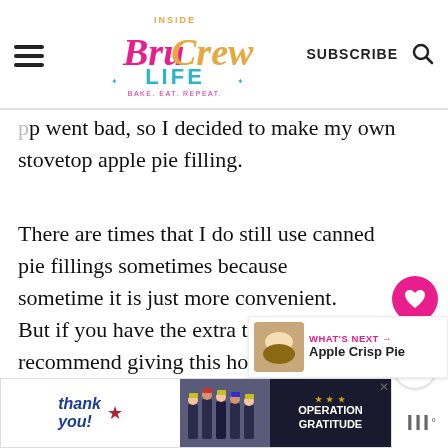Inside BruCrew Life — BAKE. EAT. REPEAT. | SUBSCRIBE
went bad, so I decided to make my own stovetop apple pie filling.
There are times that I do still use canned pie fillings sometimes because sometimes it is just more convenient.  But if you have the extra time, I recommend giving this homemade apple pie filling from scratch a try.
[Figure (screenshot): Advertisement banner: Thank you image with Operation Gratitude logo and firefighters]
[Figure (other): Social share widget with heart button showing 27.3K and share icon]
[Figure (other): What's Next widget linking to Apple Crisp Pie with thumbnail]